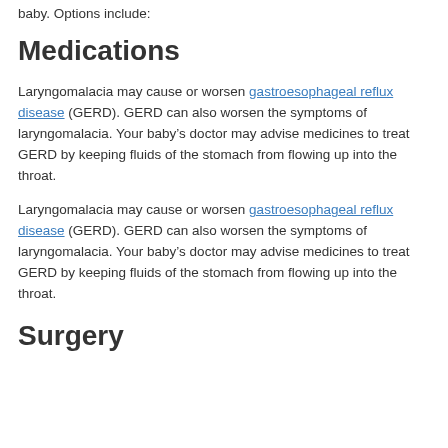baby. Options include:
Medications
Laryngomalacia may cause or worsen gastroesophageal reflux disease (GERD). GERD can also worsen the symptoms of laryngomalacia. Your baby’s doctor may advise medicines to treat GERD by keeping fluids of the stomach from flowing up into the throat.
Laryngomalacia may cause or worsen gastroesophageal reflux disease (GERD). GERD can also worsen the symptoms of laryngomalacia. Your baby’s doctor may advise medicines to treat GERD by keeping fluids of the stomach from flowing up into the throat.
Surgery